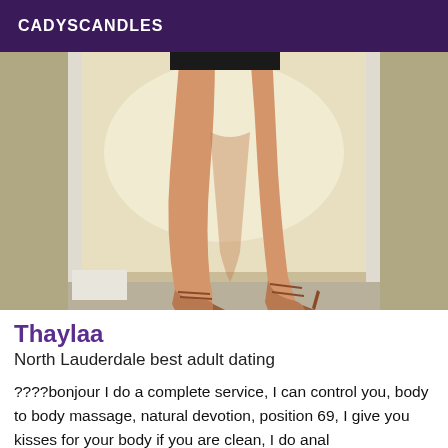CADYSCANDLES
[Figure (photo): A woman's legs and feet wearing strappy high-heeled sandals, standing in a doorway with concrete walls and floor, wearing a short black dress. The lighting is bright and warm.]
Thaylaa
North Lauderdale best adult dating
????bonjour I do a complete service, I can control you, body to body massage, natural devotion, position 69, I give you kisses for your body if you are clean, I do anal